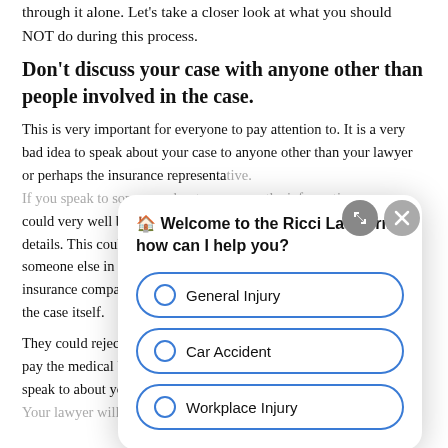through it alone. Let's take a closer look at what you should NOT do during this process.
Don't discuss your case with anyone other than people involved in the case.
This is very important for everyone to pay attention to. It is a very bad idea to speak about your case to anyone other than your lawyer or perhaps the insurance representative. If you speak to someone about your case, the information could very well be distorted by the people who hear the details. This could lead to problems if this person talks to someone else in turn. The information could reach the insurance company, which could affect the results of the case itself.
They could reject the case and leave you without money to pay the medical bills because of something said about who you speak to about your case, even among family members. Your lawyer will want to keep as much information about
[Figure (screenshot): Chat widget overlay from Ricci Law Firm with welcome message and three radio button options: General Injury, Car Accident, Workplace Injury. Two icon buttons (expand and close) appear in the top right.]